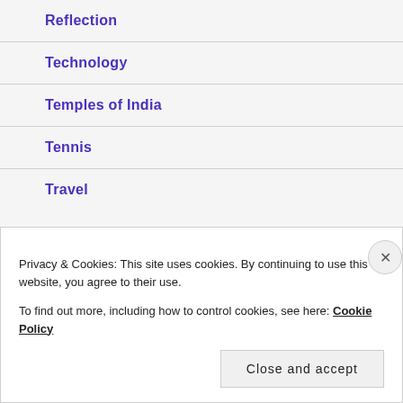Reflection
Technology
Temples of India
Tennis
Travel
Privacy & Cookies: This site uses cookies. By continuing to use this website, you agree to their use.
To find out more, including how to control cookies, see here: Cookie Policy
Close and accept